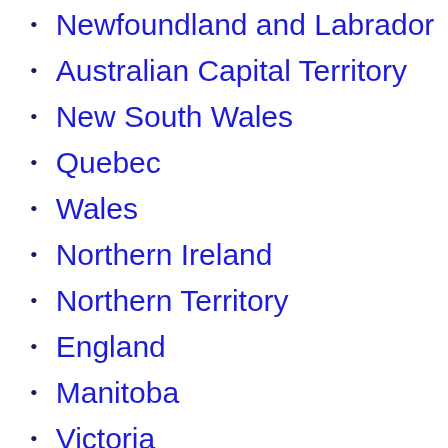Newfoundland and Labrador
Australian Capital Territory
New South Wales
Quebec
Wales
Northern Ireland
Northern Territory
England
Manitoba
Victoria
Tasmania
No…